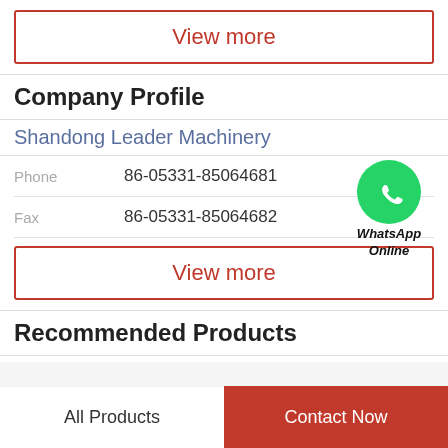View more
Company Profile
Shandong Leader Machinery
Phone   86-05331-85064681
Fax   86-05331-85064682
[Figure (illustration): WhatsApp Online green circle icon with phone handset and text WhatsApp Online below]
View more
Recommended Products
All Products
Contact Now